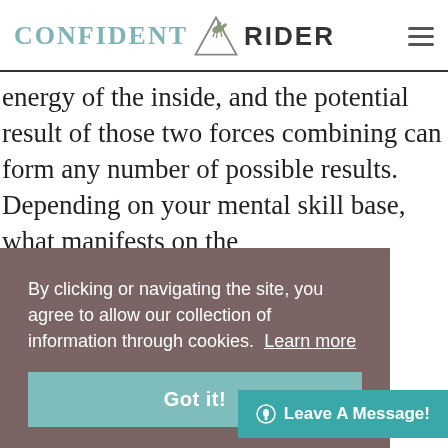[Figure (logo): Confident Rider logo with teal text CONFIDENT, a horse and rider emblem, and dark text RIDER]
energy of the inside, and the potential result of those two forces combining can form any number of possible results. Depending on your mental skill base, what manifests on the
By clicking or navigating the site, you agree to allow our collection of information through cookies. Learn more
Got it!
Leave A Message!
strength and skills that wi